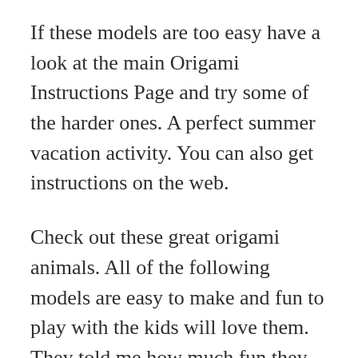If these models are too easy have a look at the main Origami Instructions Page and try some of the harder ones. A perfect summer vacation activity. You can also get instructions on the web.
Check out these great origami animals. All of the following models are easy to make and fun to play with the kids will love them. They told me how much fun they had.
Cool Origami Fish EASY. My favourite is the horse because he will do a flip when you tap his tail. Origami animals are a popular choice